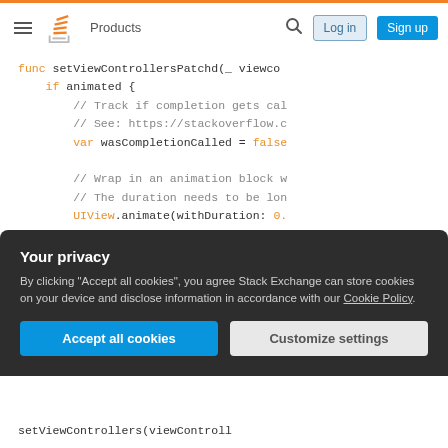Stack Overflow — Products | Log in | Sign up
[Figure (screenshot): Code snippet showing Swift function setViewControllersPatchd with animation block, UIView.animate, setViewControllers, wasCompletionCalled, and completion handler]
Your privacy
By clicking "Accept all cookies", you agree Stack Exchange can store cookies on your device and disclose information in accordance with our Cookie Policy.
Accept all cookies | Customize settings
[Figure (screenshot): Bottom partial code line: setViewControllers(viewControll]